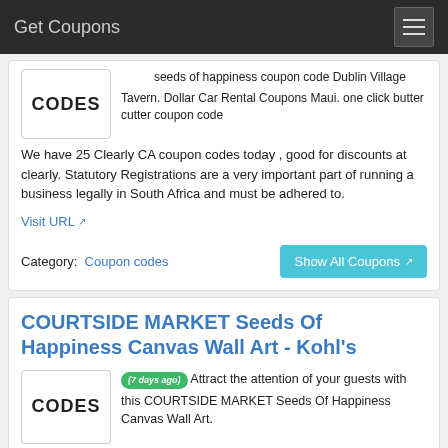Get Coupons
[Figure (other): CODES box with partial coupon description text about seeds of happiness coupon code Dublin Village Tavern. Dollar Car Rental Coupons Maui. one click butter cutter coupon code]
We have 25 Clearly CA coupon codes today , good for discounts at clearly. Statutory Registrations are a very important part of running a business legally in South Africa and must be adhered to.
Visit URL
Category:  Coupon codes
Show All Coupons
COURTSIDE MARKET Seeds Of Happiness Canvas Wall Art - Kohl's
(7 days ago) Attract the attention of your guests with this COURTSIDE MARKET Seeds Of Happiness Canvas Wall Art.